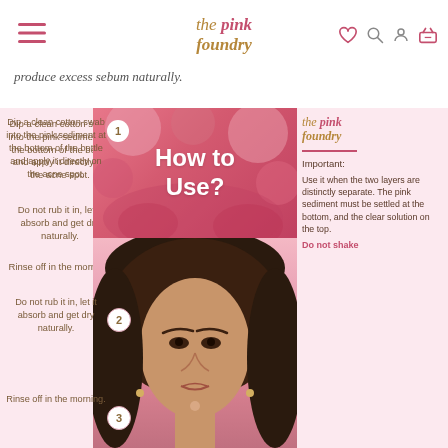the pink foundry
produce excess sebum naturally.
[Figure (infographic): How to Use infographic for the pink foundry product. Left column shows 3 steps: 1) Dip a clean cotton swab into the pink sediment at the bottom of the bottle and apply it directly on the acne spot. 2) Do not rub it in, let it absorb and get dry naturally. 3) Rinse off in the morning. Center shows pink abstract background with 'How to Use?' title and a model's face. Right column shows the pink foundry logo, a divider, Important: label, and instructions about using it when two layers are distinctly separate, pink sediment must be settled at bottom, clear solution on top. Do not shake.]
Dip a clean cotton swab into the pink sediment at the bottom of the bottle and apply it directly on the acne spot.
Do not rub it in, let it absorb and get dry naturally.
Rinse off in the morning.
Important: Use it when the two layers are distinctly separate. The pink sediment must be settled at the bottom, and the clear solution on the top.
Do not shake